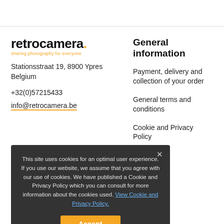[Figure (logo): retrocamera. logo with orange dot and tagline 'sharing photography for everyone']
Stationsstraat 19, 8900 Ypres
Belgium
+32(0)57215433
info@retrocamera.be
General information
Payment, delivery and collection of your order
General terms and conditions
Cookie and Privacy Policy
This site uses cookies for an optimal user experience. If you use our website, we assume that you agree with our use of cookies. We have published a Cookie and Privacy Policy which you can consult for more information about the cookies used. View Cookie and Privacy Policy.
Accept